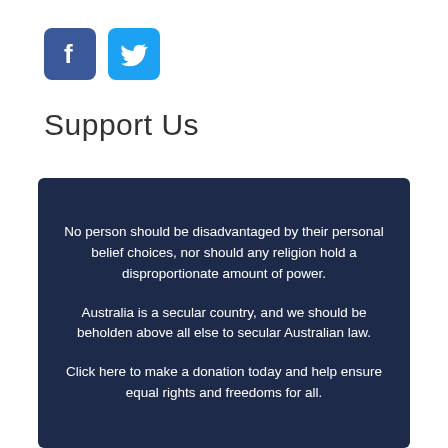[Figure (logo): Facebook logo icon (blue rounded square with white 'f') and Twitter logo icon (light blue rounded square with white bird)]
Support Us
No person should be disadvantaged by their personal belief choices, nor should any religion hold a disproportionate amount of power.
Australia is a secular country, and we should be beholden above all else to secular Australian law.
Click here to make a donation today and help ensure equal rights and freedoms for all.